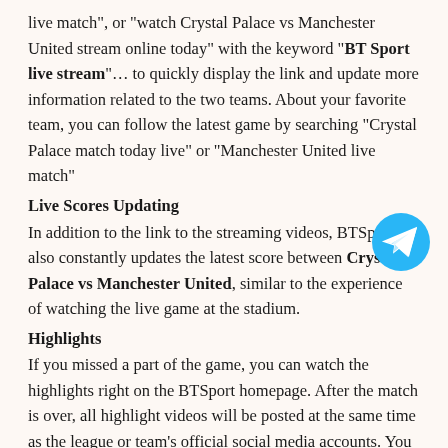live match", or "watch Crystal Palace vs Manchester United stream online today" with the keyword "BT Sport live stream"... to quickly display the link and update more information related to the two teams. About your favorite team, you can follow the latest game by searching "Crystal Palace match today live" or "Manchester United live match"
Live Scores Updating
In addition to the link to the streaming videos, BTSport also constantly updates the latest score between Crystal Palace vs Manchester United, similar to the experience of watching the live game at the stadium.
Highlights
If you missed a part of the game, you can watch the highlights right on the BTSport homepage. After the match is over, all highlight videos will be posted at the same time as the league or team's official social media accounts. You are wondering "how to watch